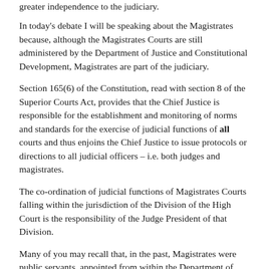greater independence to the judiciary.
In today's debate I will be speaking about the Magistrates because, although the Magistrates Courts are still administered by the Department of Justice and Constitutional Development, Magistrates are part of the judiciary.
Section 165(6) of the Constitution, read with section 8 of the Superior Courts Act, provides that the Chief Justice is responsible for the establishment and monitoring of norms and standards for the exercise of judicial functions of all courts and thus enjoins the Chief Justice to issue protocols or directions to all judicial officers – i.e. both judges and magistrates.
The co-ordination of judicial functions of Magistrates Courts falling within the jurisdiction of the Division of the High Court is the responsibility of the Judge President of that Division.
Many of you may recall that, in the past, Magistrates were public servants, appointed from within the Department of Justice and thus part and parcel of the public service.
Today our magistracy is independent – for example a Magistrate cannot be suspended or fired by the Minister of Justice. This process now involves an investigation and a hearing by the Magistrates Commission as well as the concurrence of